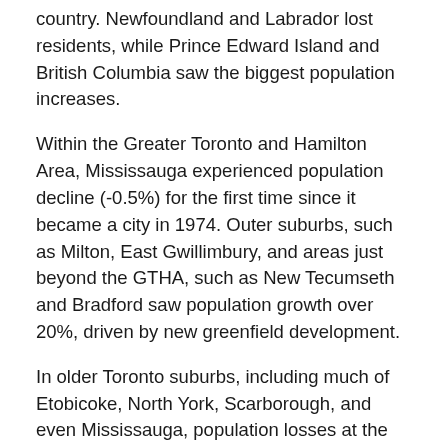country. Newfoundland and Labrador lost residents, while Prince Edward Island and British Columbia saw the biggest population increases.
Within the Greater Toronto and Hamilton Area, Mississauga experienced population decline (-0.5%) for the first time since it became a city in 1974. Outer suburbs, such as Milton, East Gwillimbury, and areas just beyond the GTHA, such as New Tecumseth and Bradford saw population growth over 20%, driven by new greenfield development.
In older Toronto suburbs, including much of Etobicoke, North York, Scarborough, and even Mississauga, population losses at the local census tract level can be explained by ageing households, where Millennial and older Gen Z children moved out on their own, particularly